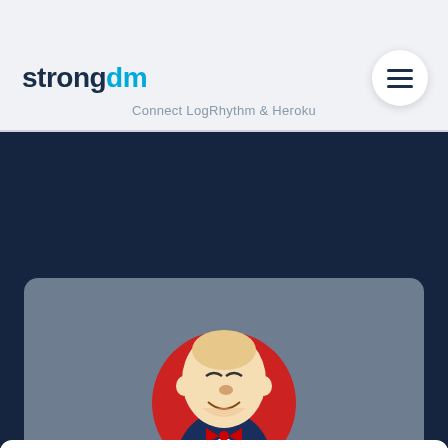strongdm — Connect LogRhythm & Heroku
[Figure (illustration): Jenkins mascot illustration: a butler character in a navy suit with a red bow tie, holding a mug, on a red circular background]
Connect LogRhythm & Jenkins
strongDM uses cookies to ensure you get the best experience on our website. Learn more
Got it!